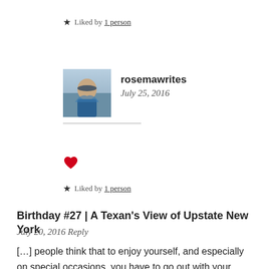★ Liked by 1 person
[Figure (photo): Avatar photo of rosemawrites — person in blue shawl against sky background]
rosemawrites
July 25, 2016
[Figure (other): Red heart icon (like button)]
★ Liked by 1 person
Birthday #27 | A Texan's View of Upstate New York
July 20, 2016 Reply
[…] people think that to enjoy yourself, and especially on special occasions, you have to go out with your friends or